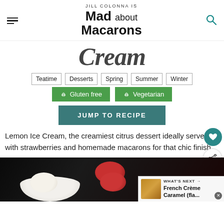JILL COLONNA IS Mad about Macarons
Cream
Teatime
Desserts
Spring
Summer
Winter
Gluten free
Vegetarian
JUMP TO RECIPE
Lemon Ice Cream, the creamiest citrus dessert ideally served with strawberries and homemade macarons for that chic finish.
[Figure (photo): Photo of lemon ice cream in a white bowl with red macarons, dark background. Overlay: WHAT'S NEXT → French Crème Caramel (fla...]